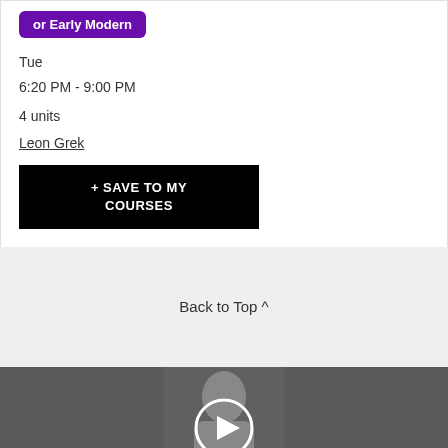or Early Modern
Tue
6:20 PM - 9:00 PM
4 units
Leon Grek
+ SAVE TO MY COURSES
Back to Top ^
[Figure (photo): Video thumbnail showing a person with a play button overlay, dark/gray background]